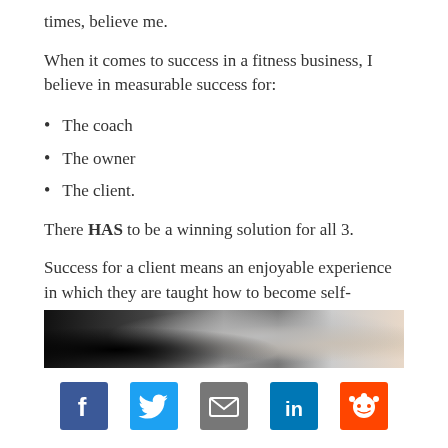times, believe me.
When it comes to success in a fitness business, I believe in measurable success for:
The coach
The owner
The client.
There HAS to be a winning solution for all 3.
Success for a client means an enjoyable experience in which they are taught how to become self-responsible in fitness for a sport or a lifetime.
[Figure (photo): Partial image of fitness-related photo at the bottom of the article]
[Figure (infographic): Social sharing bar with Facebook, Twitter, Email, LinkedIn, and Reddit buttons]